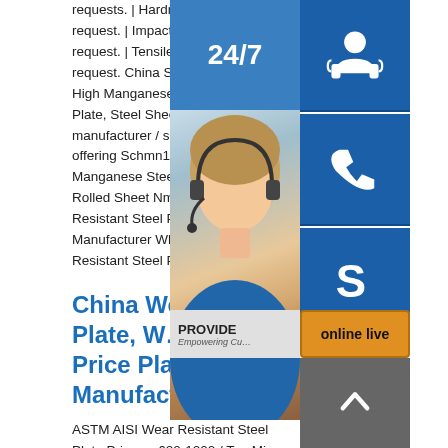requests. | Hardness:as per your request. | Impact Value:as per your request. | Tensile Strength:as per your request. China Schmn11 ASTM A128 High Manganese Steel Plate Steel Plate, Steel Sheet, Wear Steel Plate manufacturer / supplier in China, offering Schmn11 ASTM A128 High Manganese Steel Plate Price, Hot Rolled Sheet Nm400nm Wear Resistant Steel Plate Price, Manufacturer Wholesale Hot Rolled Wear Resistant Steel Plate and so
China Wear Price Plate, Wear Price Plate Manufacturers...
ASTM AISI Wear Resistant Steel Plate Price: US $ 600-1000 / Ton Min. Order:1 Ton. Manganese... Telsmith H2550 H3450 Jaw Crusher Wear Parts Fixed Swing Jaw Plate Price. More related options such as steel plate, steel sheet, wear resistant plate could be your choices too. From sourcing raw materials to launching business China Wear Resistant High Manganese Steel Plate Factory name:Wear Resistant High Manganese Steel Plate Factory:Standard:Gb/t2968-90, astm, asme, ams, mil, jis,
[Figure (illustration): Customer service panel with: headset person photo, 24/7 chat icon button (blue), phone icon button (blue), Skype icon button (blue), PROVIDE Empowering Customers banner, online live button (orange)]